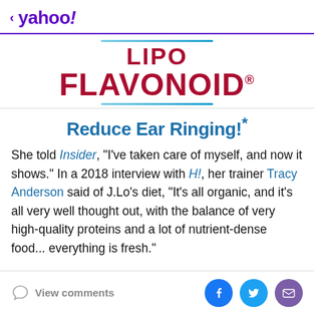< yahoo!
[Figure (logo): Lipo Flavonoid brand logo with blue decorative lines above and below, red bold text reading LIPO FLAVONOID with registered trademark symbol]
Reduce Ear Ringing!*
She told Insider, "I've taken care of myself, and now it shows." In a 2018 interview with H!, her trainer Tracy Anderson said of J.Lo's diet, "It's all organic, and it's all very well thought out, with the balance of very high-quality proteins and a lot of nutrient-dense food... everything is fresh."
View comments | Facebook | Twitter | Email